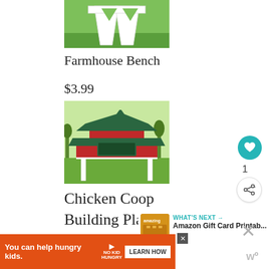[Figure (photo): Partial photo of a white farmhouse bench with A-frame legs on green grass]
Farmhouse Bench
$3.99
[Figure (photo): Red chicken coop with dark green roof elevated on white posts, on green grass]
Chicken Coop Building Plan
WHAT'S NEXT → Amazon Gift Card Printab...
You can help hungry kids. NO KID HUNGRY LEARN HOW